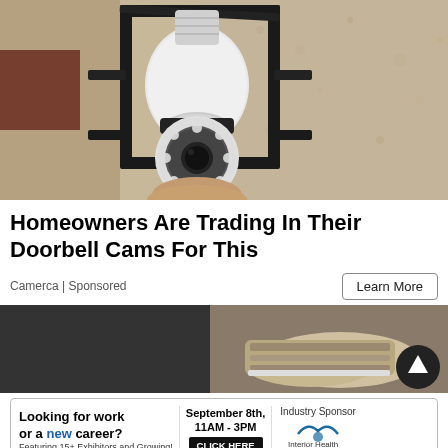[Figure (photo): A white security camera shaped like a light bulb screwed into an outdoor wall lantern fixture with black metal frame, mounted on a textured beige/cream stucco wall. The camera has a circular lens array with LED lights.]
Homeowners Are Trading In Their Doorbell Cams For This
Camerca | Sponsored
Learn More
[Figure (photo): Close-up partial view of shoes/feet on a dark surface, partially cropped.]
[Figure (infographic): Advertisement banner: 'Looking for work or a new career? Featuring 15+ Exhibitors and Growing! September 8th, 11AM - 3PM CLICK HERE. Industry Sponsor: Interior Health']